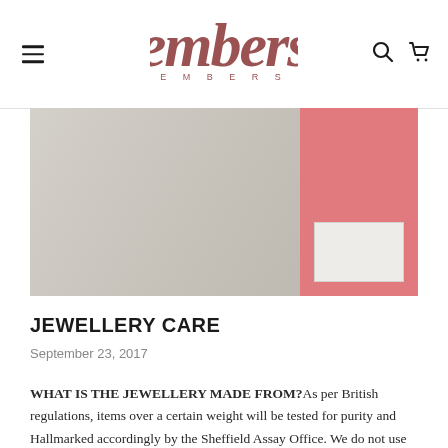Embers — navigation header with logo, hamburger menu, search and cart icons
[Figure (photo): Cropped product/lifestyle photo showing a grey marble or stone surface with a pink/coral box and a white card or box in the lower right corner]
JEWELLERY CARE
September 23, 2017
WHAT IS THE JEWELLERY MADE FROM?As per British regulations, items over a certain weight will be tested for purity and Hallmarked accordingly by the Sheffield Assay Office. We do not use feature hallmarks, and try to make our hallmarking as